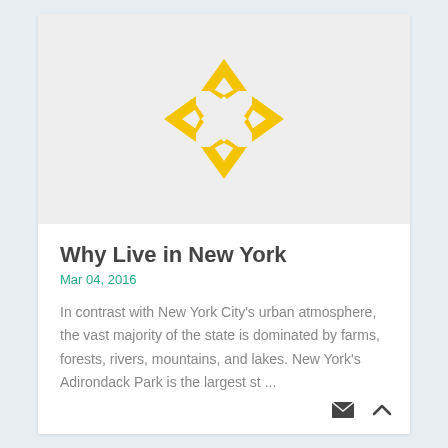[Figure (logo): A yellow/gold diamond-shaped logo icon with four arrow-like chevrons pointing inward, forming a hollow diamond shape, on a light grey background]
Why Live in New York
Mar 04, 2016
In contrast with New York City's urban atmosphere, the vast majority of the state is dominated by farms, forests, rivers, mountains, and lakes. New York's Adirondack Park is the largest st ...